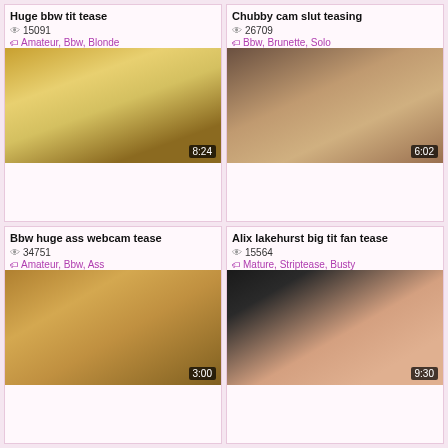Huge bbw tit tease
15091
Amateur, Bbw, Blonde
[Figure (photo): Video thumbnail showing webcam scene, duration 8:24]
Chubby cam slut teasing
26709
Bbw, Brunette, Solo
[Figure (photo): Video thumbnail showing webcam scene, duration 6:02]
Bbw huge ass webcam tease
34751
Amateur, Bbw, Ass
Alix lakehurst big tit fan tease
15564
Mature, Striptease, Busty
[Figure (photo): Video thumbnail showing couple scene, duration 3:00]
[Figure (photo): Video thumbnail showing woman in pink, duration 9:30]